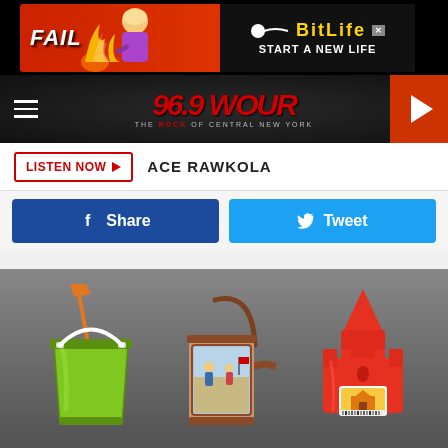[Figure (screenshot): Advertisement banner for BitLife game showing FAIL text with fire and cartoon character, 'START A NEW LIFE' tagline on black/red background]
[Figure (screenshot): 96.9 WOUR radio station navigation bar with hamburger menu, red station logo, and orange play button]
LISTEN NOW ACE RAWKOLA
Share   Tweet
[Figure (photo): Three beach/sand toys on grey background: green plastic bucket with orange shovel, vintage tin watering can with children scene illustration, and red plastic castle sand mold]